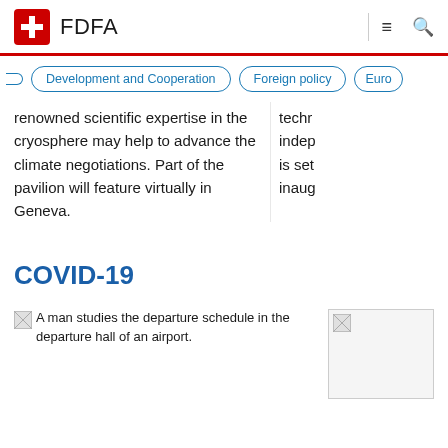FDFA
Development and Cooperation | Foreign policy | Euro
renowned scientific expertise in the cryosphere may help to advance the climate negotiations. Part of the pavilion will feature virtually in Geneva.
techr indep is set inaug
COVID-19
[Figure (photo): A man studies the departure schedule in the departure hall of an airport.]
[Figure (photo): Partially visible image on the right side.]